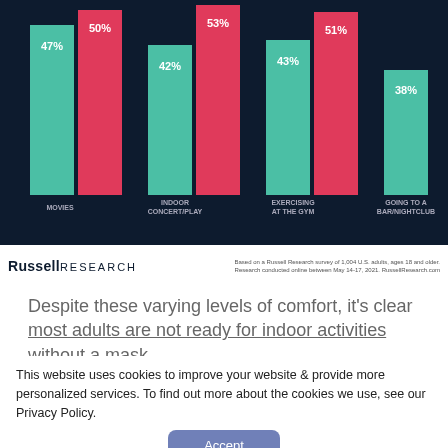[Figure (grouped-bar-chart): Indoor activities comfort levels]
[Figure (logo): Russell Research logo with footnote: Based on a Russell Research survey of 1,004 U.S. adults, ages 18 and older. Research conducted online between May 14-17, 2021. RussellResearch.com]
Despite these varying levels of comfort, it's clear most adults are not ready for indoor activities without a mask.
42% of adults are comfortable shopping at an indoor mall without a mask.
This website uses cookies to improve your website & provide more personalized services. To find out more about the cookies we use, see our Privacy Policy.